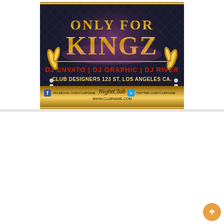[Figure (illustration): Nightclub event flyer with dark quilted background, gold decorative elements, text 'ONLY FOR KINGZ', DJ ENVATO | DJ GRAPHIC | DJ RIVER, CLUB DESIGNERS 123 ST. LOS ANGELES CA., NightClub branding, Facebook and Twitter handles, WWW.CLUBNAME.COM]
[Figure (photo): Luxury jewelry promotional image on pink/magenta background showing gold chain necklace, diamond rings with 'Thank you!' cursive text overlay, partial number 50 visible]